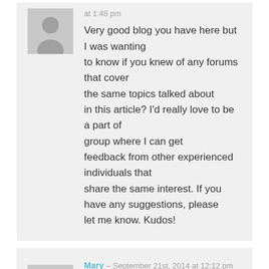at 1:48 pm
Very good blog you have here but I was wanting to know if you knew of any forums that cover the same topics talked about in this article? I'd really love to be a part of group where I can get feedback from other experienced individuals that share the same interest. If you have any suggestions, please let me know. Kudos!
Mary – September 21st, 2014 at 12:12 pm
Keep this going please, great job!
Visit my homepage: download songs from